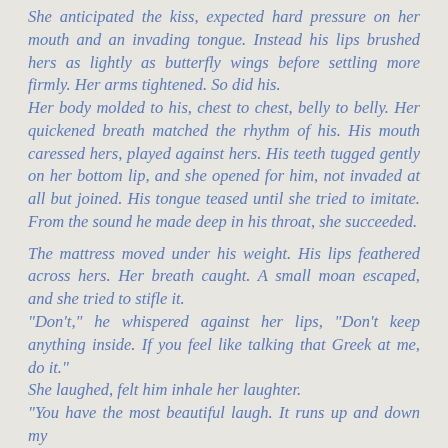She anticipated the kiss, expected hard pressure on her mouth and an invading tongue. Instead his lips brushed hers as lightly as butterfly wings before settling more firmly. Her arms tightened. So did his.
Her body molded to his, chest to chest, belly to belly. Her quickened breath matched the rhythm of his. His mouth caressed hers, played against hers. His teeth tugged gently on her bottom lip, and she opened for him, not invaded at all but joined. His tongue teased until she tried to imitate. From the sound he made deep in his throat, she succeeded.

The mattress moved under his weight. His lips feathered across hers. Her breath caught. A small moan escaped, and she tried to stifle it.
"Don't," he whispered against her lips, "Don't keep anything inside. If you feel like talking that Greek at me, do it."
She laughed, felt him inhale her laughter.
"You have the most beautiful laugh. It runs up and down my